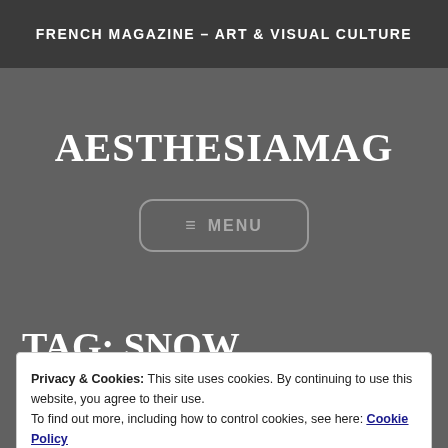FRENCH MAGAZINE – ART & VISUAL CULTURE
AESTHESIAMAG
≡ MENU
TAG: SNOW PATTERNS
Privacy & Cookies: This site uses cookies. By continuing to use this website, you agree to their use.
To find out more, including how to control cookies, see here: Cookie Policy
Close and accept
[Figure (illustration): Decorative art illustration visible at the bottom of the page, blue/indigo toned artwork]